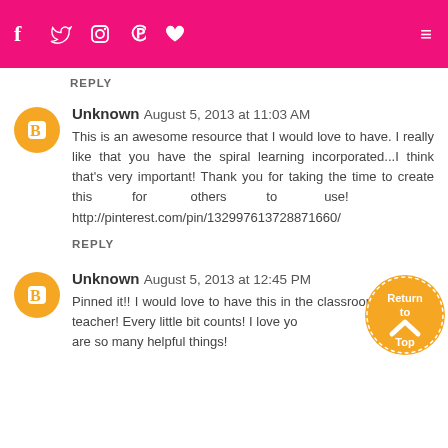f  t  [instagram]  p  [heart]  [menu]
REPLY
Unknown August 5, 2013 at 11:03 AM
This is an awesome resource that I would love to have. I really like that you have the spiral learning incorporated...I think that's very important! Thank you for taking the time to create this for others to use! http://pinterest.com/pin/132997613728871660/
REPLY
Unknown August 5, 2013 at 12:45 PM
Pinned it!! I would love to have this in the classroom as a new teacher! Every little bit counts! I love yo...are so many helpful things!